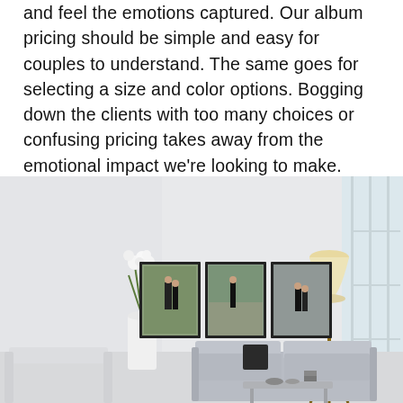and feel the emotions captured. Our album pricing should be simple and easy for couples to understand. The same goes for selecting a size and color options. Bogging down the clients with too many choices or confusing pricing takes away from the emotional impact we're looking to make.
[Figure (photo): A bright modern living room with white/grey sofa set, coffee table, white floor vase with flowers, a tripod floor lamp, large windows on the right, and three framed photographs of a couple hanging on the wall above the sofa.]